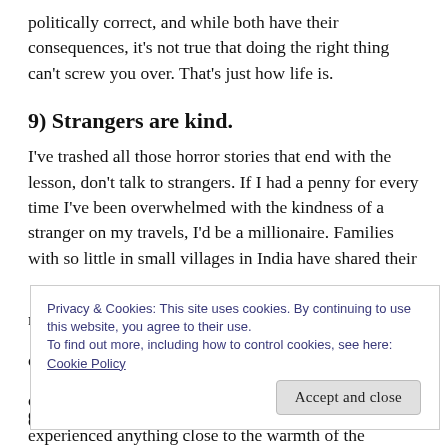politically correct, and while both have their consequences, it's not true that doing the right thing can't screw you over. That's just how life is.
9) Strangers are kind.
I've trashed all those horror stories that end with the lesson, don't talk to strangers. If I had a penny for every time I've been overwhelmed with the kindness of a stranger on my travels, I'd be a millionaire. Families with so little in small villages in India have shared their [partial - obscured by overlay] experienced anything close to the warmth of the
Privacy & Cookies: This site uses cookies. By continuing to use this website, you agree to their use.
To find out more, including how to control cookies, see here:
Cookie Policy
[Accept and close button]